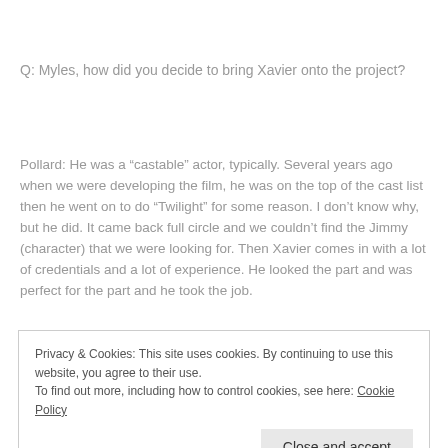Q: Myles, how did you decide to bring Xavier onto the project?
Pollard: He was a “castable” actor, typically. Several years ago when we were developing the film, he was on the top of the cast list then he went on to do “Twilight” for some reason. I don’t know why, but he did. It came back full circle and we couldn’t find the Jimmy (character) that we were looking for. Then Xavier comes in with a lot of credentials and a lot of experience. He looked the part and was perfect for the part and he took the job.
Privacy & Cookies: This site uses cookies. By continuing to use this website, you agree to their use. To find out more, including how to control cookies, see here: Cookie Policy